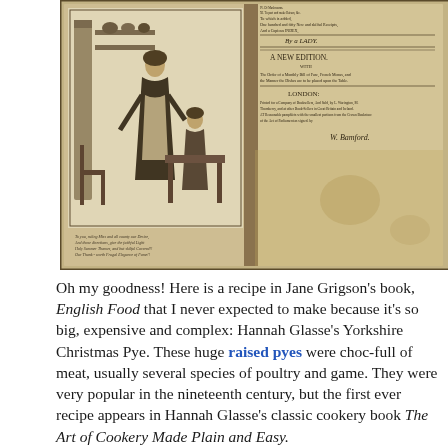[Figure (photo): Photograph of an open antique cookbook showing an engraved illustration on the left page of a kitchen scene with a woman and child, and the right page showing old printed text including 'By a LADY', 'A NEW EDITION', 'LONDON' — appears to be Hannah Glasse's 'The Art of Cookery Made Plain and Easy'.]
Oh my goodness! Here is a recipe in Jane Grigson's book, English Food that I never expected to make because it's so big, expensive and complex: Hannah Glasse's Yorkshire Christmas Pye. These huge raised pyes were choc-full of meat, usually several species of poultry and game. They were very popular in the nineteenth century, but the first ever recipe appears in Hannah Glasse's classic cookery book The Art of Cookery Made Plain and Easy.